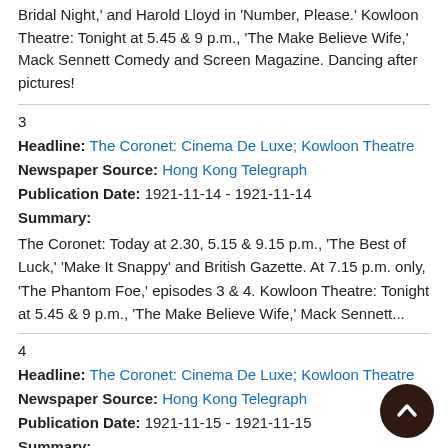Bridal Night,' and Harold Lloyd in 'Number, Please.' Kowloon Theatre: Tonight at 5.45 & 9 p.m., 'The Make Believe Wife,' Mack Sennett Comedy and Screen Magazine. Dancing after pictures!
3
Headline: The Coronet: Cinema De Luxe; Kowloon Theatre
Newspaper Source: Hong Kong Telegraph
Publication Date: 1921-11-14 - 1921-11-14
Summary:
The Coronet: Today at 2.30, 5.15 & 9.15 p.m., 'The Best of Luck,' 'Make It Snappy' and British Gazette. At 7.15 p.m. only, 'The Phantom Foe,' episodes 3 & 4. Kowloon Theatre: Tonight at 5.45 & 9 p.m., 'The Make Believe Wife,' Mack Sennett...
4
Headline: The Coronet: Cinema De Luxe; Kowloon Theatre
Newspaper Source: Hong Kong Telegraph
Publication Date: 1921-11-15 - 1921-11-15
Summary:
The Coronet: Today at 2.30, 5.15 & 9.15 p.m., 'The Best of Luck,' 'Make It Snappy' and British Gazette. At 7.15 p.m. only, 'The